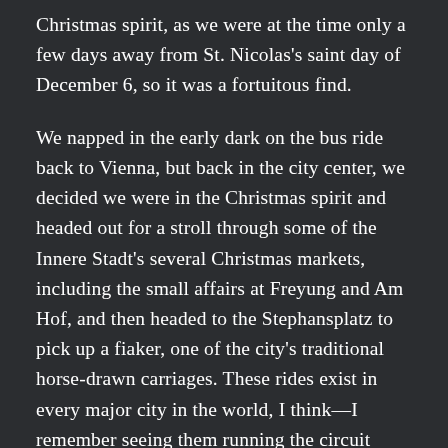Christmas spirit, as we were at the time only a few days away from St. Nicolas's saint day of December 6, so it was a fortuitous find.
We napped in the early dark on the bus ride back to Vienna, but back in the city center, we decided we were in the Christmas spirit and headed out for a stroll through some of the Innere Stadt's several Christmas markets, including the small affairs at Freyung and Am Hof, and then headed to the Stephansplatz to pick up a fiaker, one of the city's traditional horse-drawn carriages. These rides exist in every major city in the world, I think—I remember seeing them running the circuit through downtown San Antonio, and we even have a few trotting around the Marina Mall here in Abu Dhabi—so we knew they might seem an absurdly touristy thing to do. But the fiakers in Vienna were in